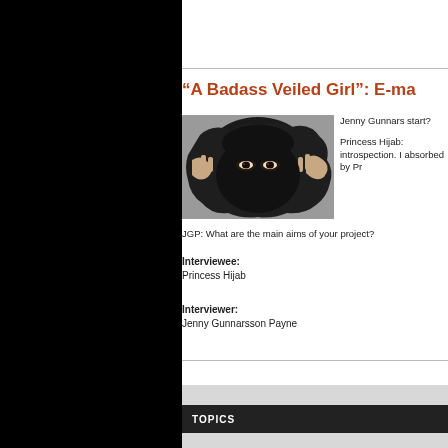“A Badass Veiled Girl”: E-ma
[Figure (photo): Photo of a person wearing a black face veil (niqab), peering through a torn hole in dark paper or fabric, with expressive eyes visible.]
Jenny Gunnars start?
Princess Hijab: introspection. I absorbed by Pr
JGP: What are the main aims of your project?
Interviewee:
Princess Hijab
Interviewer:
Jenny Gunnarsson Payne
TOPICS